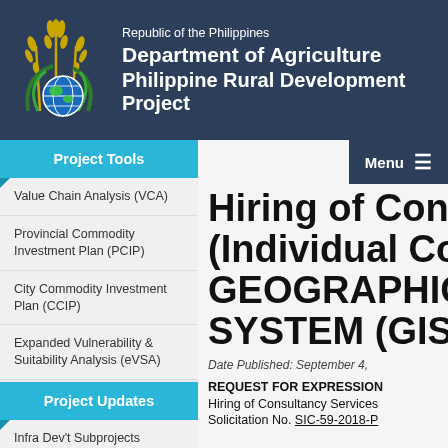Republic of the Philippines
Department of Agriculture
Philippine Rural Development Project
Project Tools
Value Chain Analysis (VCA)
Provincial Commodity Investment Plan (PCIP)
City Commodity Investment Plan (CCIP)
Expanded Vulnerability & Suitability Analysis (eVSA)
Project Updates
Infra Dev't Subprojects
Hiring of Cons... (Individual Co... GEOGRAPHIC... SYSTEM (GIS)...
Date Published: September 4,
REQUEST FOR EXPRESSION...
Hiring of Consultancy Services...
Solicitation No. SIC-59-2018-P...